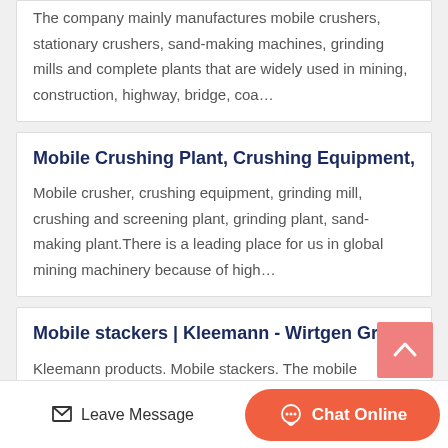The company mainly manufactures mobile crushers, stationary crushers, sand-making machines, grinding mills and complete plants that are widely used in mining, construction, highway, bridge, coa…
Mobile Crushing Plant, Crushing Equipment,
Mobile crusher, crushing equipment, grinding mill, crushing and screening plant, grinding plant, sand-making plant.There is a leading place for us in global mining machinery because of high…
Mobile stackers | Kleemann - Wirtgen Group
Kleemann products. Mobile stackers. The mobile stackers MOBIBELT are used to improve tipping onto conical or kidney-shaped stockpiles. The direct material transport from the crushing…
Leave Message
Chat Online